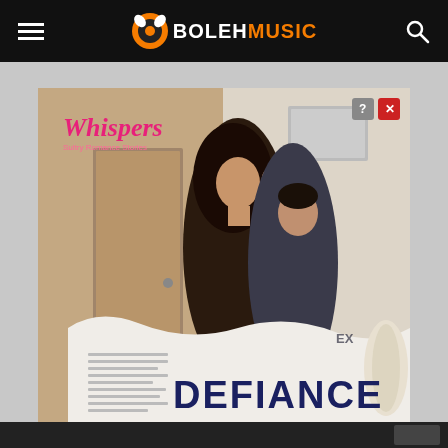BolehMusic navigation bar with hamburger menu and search icon
[Figure (illustration): Advertisement for 'Whispers' romance stories app showing the title 'Defiance' with two people in a romantic pose, close/question mark buttons in top right corner]